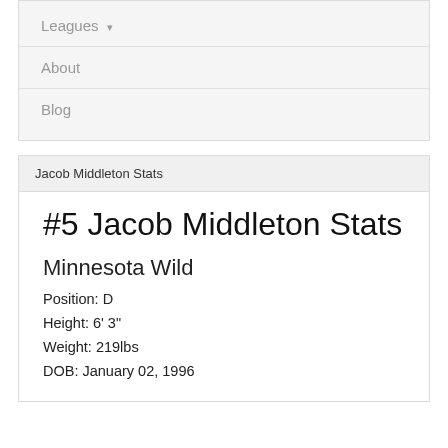Leagues ▾
About
Blog
Jacob Middleton Stats
#5 Jacob Middleton Stats
Minnesota Wild
Position: D
Height: 6' 3"
Weight: 219lbs
DOB: January 02, 1996